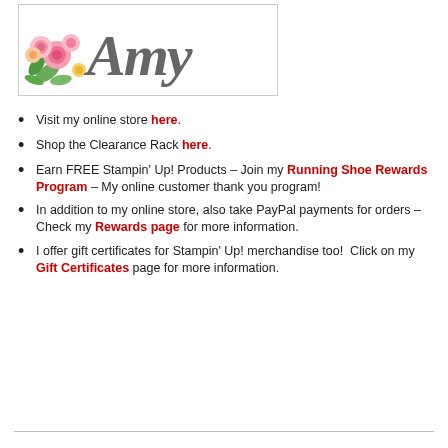[Figure (logo): Logo with watercolor flowers and cursive 'Amy' text in gray]
Visit my online store here.
Shop the Clearance Rack here.
Earn FREE Stampin' Up! Products – Join my Running Shoe Rewards Program – My online customer thank you program!
In addition to my online store, also take PayPal payments for orders – Check my Rewards page for more information.
I offer gift certificates for Stampin' Up! merchandise too! Click on my Gift Certificates page for more information.